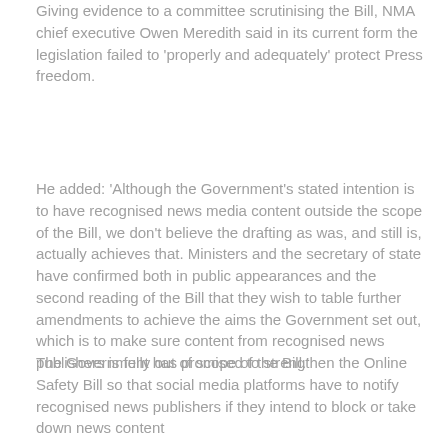Giving evidence to a committee scrutinising the Bill, NMA chief executive Owen Meredith said in its current form the legislation failed to 'properly and adequately' protect Press freedom.
He added: 'Although the Government's stated intention is to have recognised news media content outside the scope of the Bill, we don't believe the drafting as was, and still is, actually achieves that. Ministers and the secretary of state have confirmed both in public appearances and the second reading of the Bill that they wish to table further amendments to achieve the aims the Government set out, which is to make sure content from recognised news publishers is fully out of scope of the Bill.'
The Government has promised to strengthen the Online Safety Bill so that social media platforms have to notify recognised news publishers if they intend to block or take down news content